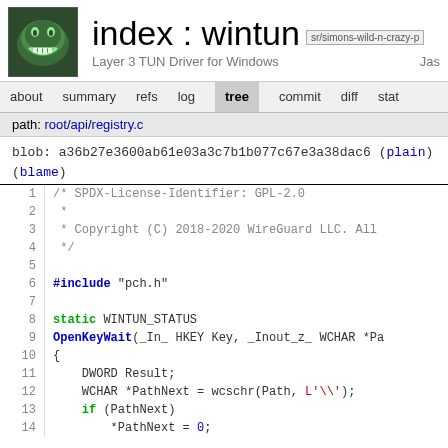index : wintun  sr/simons-wild-n-crazy-p  Layer 3 TUN Driver for Windows  Jas
about  summary  refs  log  tree  commit  diff  stat
path: root/api/registry.c
blob: a36b27e3600ab61e03a3c7b1b077c67e3a38dac6 (plain)(blame)
[Figure (screenshot): Source code viewer showing registry.c file lines 1-14]
1  /* SPDX-License-Identifier: GPL-2.0
2   *
3   * Copyright (C) 2018-2020 WireGuard LLC. All
4   */
5
6  #include "pch.h"
7
8  static WINTUN_STATUS
9  OpenKeyWait(_In_ HKEY Key, _Inout_z_ WCHAR *Pa
10 {
11     DWORD Result;
12     WCHAR *PathNext = wcschr(Path, L'\\');
13     if (PathNext)
14         *PathNext = 0;